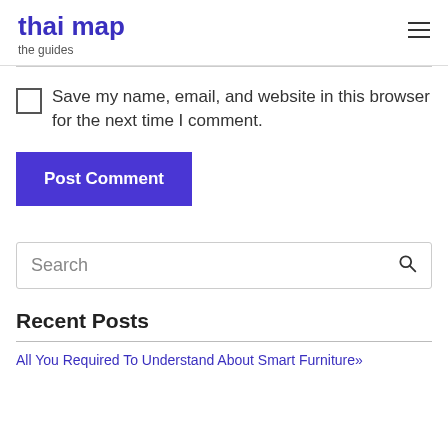thai map — the guides
Save my name, email, and website in this browser for the next time I comment.
Post Comment
Search
Recent Posts
All You Required To Understand About Smart Furniture»